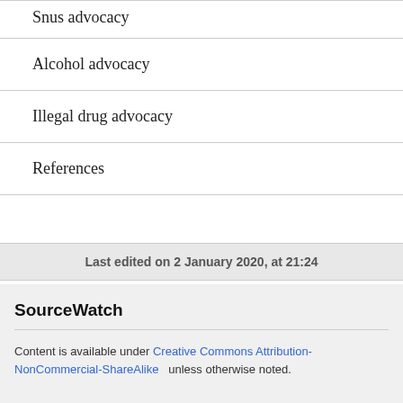Snus advocacy
Alcohol advocacy
Illegal drug advocacy
References
Last edited on 2 January 2020, at 21:24
SourceWatch
Content is available under Creative Commons Attribution-NonCommercial-ShareAlike unless otherwise noted.